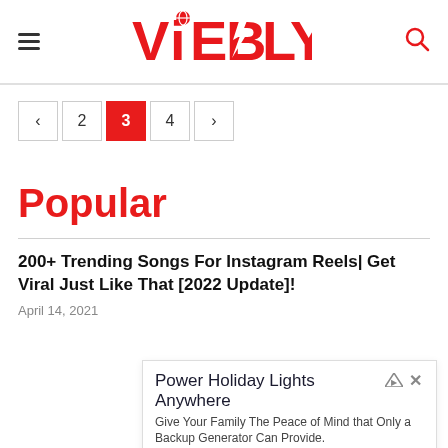ViEBLY
< 2 3 4 >
Popular
200+ Trending Songs For Instagram Reels| Get Viral Just Like That [2022 Update]!
April 14, 2021
[Figure (screenshot): Advertisement banner: Power Holiday Lights Anywhere. Give Your Family The Peace of Mind that Only a Backup Generator Can Provide. Westinghouse. Shop Now button.]